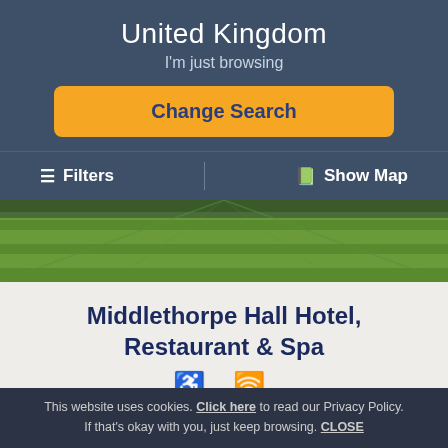United Kingdom
I'm just browsing
Change Search
≡ Filters | 🗺 Show Map
[Figure (photo): Aerial view of a manicured green lawn, likely grounds of Middlethorpe Hall]
Middlethorpe Hall Hotel, Restaurant & Spa
♿ WiFi icons (accessibility and wireless)
Middlethorpe Hall is situated in 20 acres of gardens alongside York Racecourse and 2 miles from York Minster. Impressive William... country house hotel...
This website uses cookies. Click here to read our Privacy Policy. If that's okay with you, just keep browsing. CLOSE